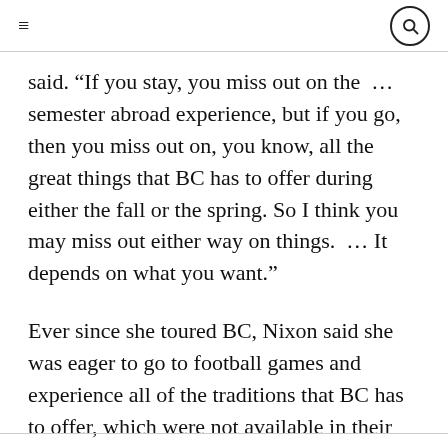≡ 🔍
said. “If you stay, you miss out on the … semester abroad experience, but if you go, then you miss out on, you know, all the great things that BC has to offer during either the fall or the spring. So I think you may miss out either way on things. … It depends on what you want.”
Ever since she toured BC, Nixon said she was eager to go to football games and experience all of the traditions that BC has to offer, which were not available in their entirety last year.